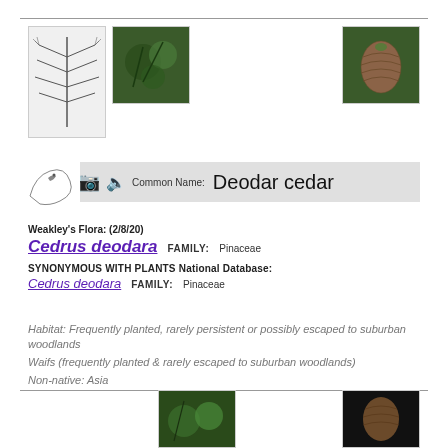[Figure (illustration): Botanical sketch illustration of cedar branch with needles]
[Figure (photo): Photo of Cedrus deodara foliage close-up]
[Figure (photo): Photo of Cedrus deodara pine cone on branch]
[Figure (illustration): Sketch of bird (North Carolina state bird area map)]
Common Name: Deodar cedar
Weakley's Flora: (2/8/20)
Cedrus deodara   FAMILY: Pinaceae
SYNONYMOUS WITH PLANTS National Database:
Cedrus deodara   FAMILY: Pinaceae
Habitat: Frequently planted, rarely persistent or possibly escaped to suburban woodlands
Waifs (frequently planted & rarely escaped to suburban woodlands)
Non-native: Asia
[Figure (photo): Photo of Cedrus deodara tree]
[Figure (photo): Photo of Cedrus deodara cone close-up dark background]